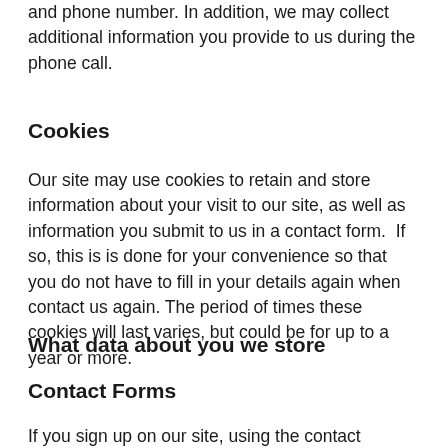and phone number. In addition, we may collect additional information you provide to us during the phone call.
Cookies
Our site may use cookies to retain and store information about your visit to our site, as well as information you submit to us in a contact form.  If so, this is is done for your convenience so that you do not have to fill in your details again when contact us again. The period of times these cookies will last varies, but could be for up to a year or more.
What data about you we store
Contact Forms
If you sign up on our site, using the contact